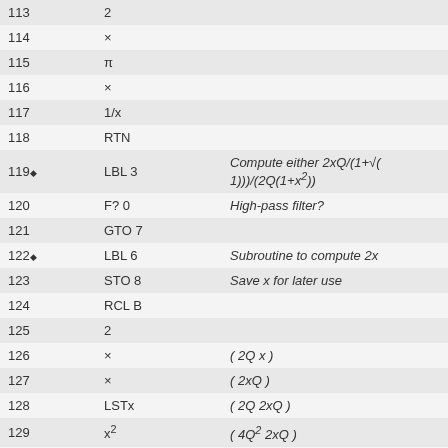| Line | Command | Description |
| --- | --- | --- |
| 113 | 2 |  |
| 114 | × |  |
| 115 | π |  |
| 116 | × |  |
| 117 | 1/x |  |
| 118 | RTN |  |
| 119♦ | LBL 3 | Compute either 2xQ/(1+√(…1)))/(2Q(1+x²)) |
| 120 | F? 0 | High-pass filter? |
| 121 | GTO 7 |  |
| 122♦ | LBL 6 | Subroutine to compute 2x… |
| 123 | STO 8 | Save x for later use |
| 124 | RCL B |  |
| 125 | 2 |  |
| 126 | × | ( 2Q x ) |
| 127 | × | ( 2xQ ) |
| 128 | LSTx | ( 2Q 2xQ ) |
| 129 | x² | ( 4Q² 2xQ ) |
| 130 | RCL E |  |